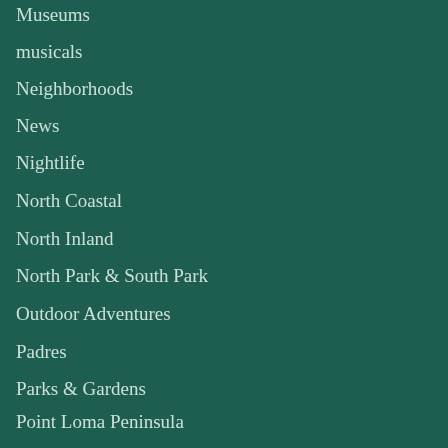Museums
musicals
Neighborhoods
News
Nightlife
North Coastal
North Inland
North Park & South Park
Outdoor Adventures
Padres
Parks & Gardens
Point Loma Peninsula
Professional Sports